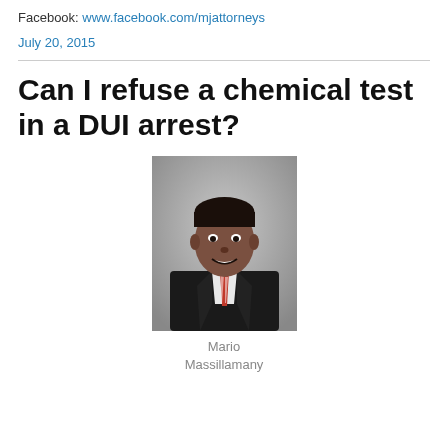Facebook: www.facebook.com/mjattorneys
July 20, 2015
Can I refuse a chemical test in a DUI arrest?
[Figure (photo): Professional headshot of Mario Massillamany, a man in a dark suit with a red and white striped tie, smiling, against a grey background.]
Mario
Massillamany